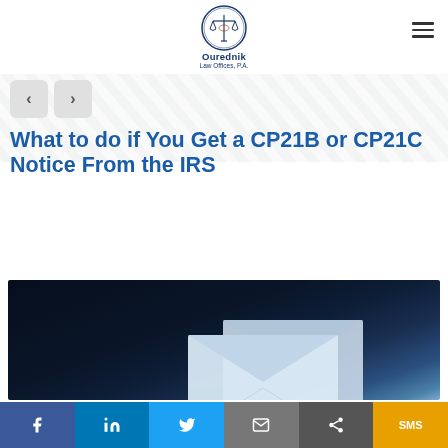[Figure (logo): Ourednik Law Offices P.A. logo with scales of justice icon in a circle, dark blue text]
What to do if You Get a CP21B or CP21C Notice From the IRS
[Figure (photo): Dark background photo showing envelopes/mail, representing IRS notices]
[Figure (infographic): Social share bar with Facebook, LinkedIn, Twitter, Email, Share, and SMS buttons]